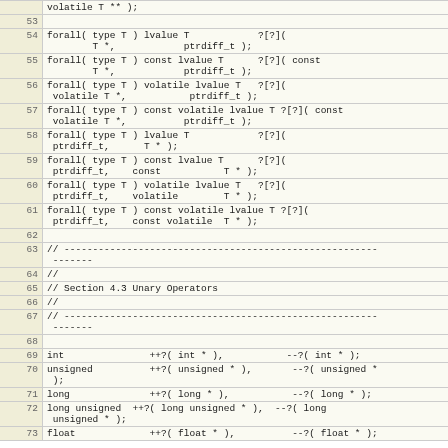| Line | Code |
| --- | --- |
|  | volatile T ** ); |
| 53 |  |
| 54 | forall( type T ) lvalue T            ?[?](
        T *,            ptrdiff_t ); |
| 55 | forall( type T ) const lvalue T      ?[?]( const
        T *,            ptrdiff_t ); |
| 56 | forall( type T ) volatile lvalue T   ?[?](
 volatile T *,           ptrdiff_t ); |
| 57 | forall( type T ) const volatile lvalue T ?[?]( const
 volatile T *,          ptrdiff_t ); |
| 58 | forall( type T ) lvalue T            ?[?](
 ptrdiff_t,      T * ); |
| 59 | forall( type T ) const lvalue T      ?[?](
 ptrdiff_t,    const           T * ); |
| 60 | forall( type T ) volatile lvalue T   ?[?](
 ptrdiff_t,    volatile        T * ); |
| 61 | forall( type T ) const volatile lvalue T ?[?](
 ptrdiff_t,    const volatile  T * ); |
| 62 |  |
| 63 | // -------------------------------------------------------
 ------- |
| 64 | // |
| 65 | // Section 4.3 Unary Operators |
| 66 | // |
| 67 | // -------------------------------------------------------
 ------- |
| 68 |  |
| 69 | int               ++?( int * ),           --?( int * ); |
| 70 | unsigned          ++?( unsigned * ),       --?( unsigned *
 ); |
| 71 | long              ++?( long * ),           --?( long * ); |
| 72 | long unsigned  ++?( long unsigned * ),  --?( long
 unsigned * ); |
| 73 | float             ++?( float * ),          --?( float * ); |